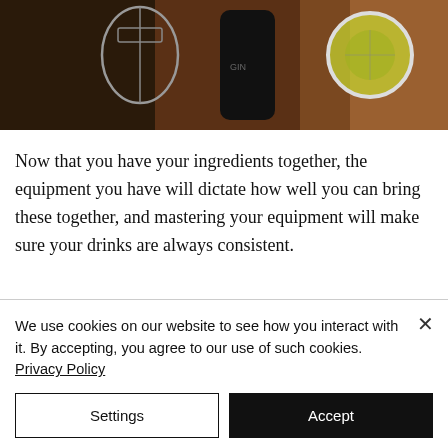[Figure (photo): Overhead photo of cocktail-making equipment on a dark wooden surface: a metal jigger/strainer, a dark bottle, and a citrus slice in a white container]
Now that you have your ingredients together, the equipment you have will dictate how well you can bring these together, and mastering your equipment will make sure your drinks are always consistent.
A must have is a good shaker. There
We use cookies on our website to see how you interact with it. By accepting, you agree to our use of such cookies. Privacy Policy
Settings
Accept